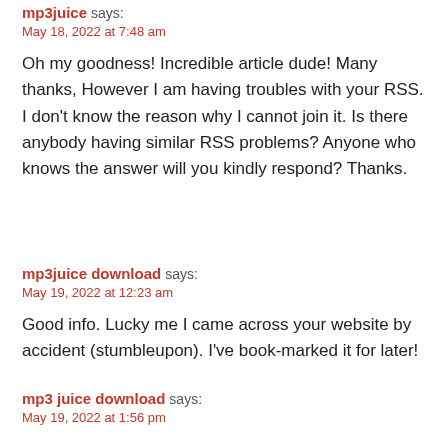mp3juice says: May 18, 2022 at 7:48 am
Oh my goodness! Incredible article dude! Many thanks, However I am having troubles with your RSS. I don't know the reason why I cannot join it. Is there anybody having similar RSS problems? Anyone who knows the answer will you kindly respond? Thanks.
mp3juice download says: May 19, 2022 at 12:23 am
Good info. Lucky me I came across your website by accident (stumbleupon). I've book-marked it for later!
mp3 juice download says: May 19, 2022 at 1:56 pm